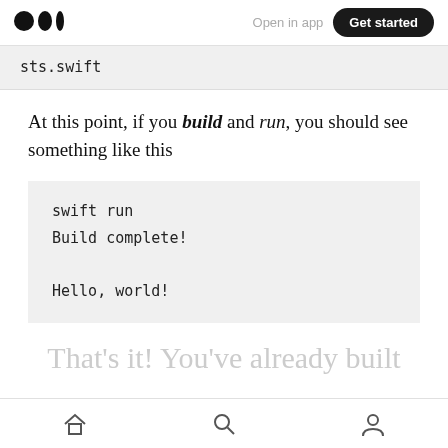Medium logo | Open in app | Get started
sts.swift
At this point, if you build and run, you should see something like this
swift run
Build complete!

Hello, world!
That’s it! You've already built
Home | Search | Profile